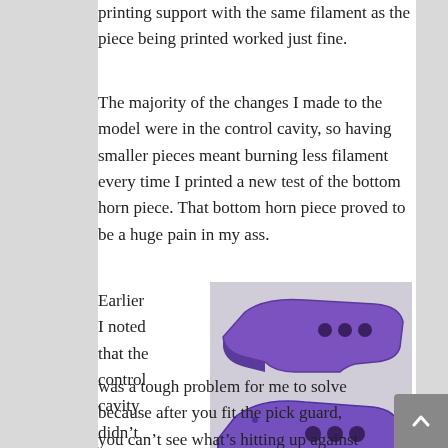printing support with the same filament as the piece being printed worked just fine.
The majority of the changes I made to the model were in the control cavity, so having smaller pieces meant burning less filament every time I printed a new test of the bottom horn piece. That bottom horn piece proved to be a huge pain in my ass.
Earlier I noted that the control cavity didn't fit the controls. That
[Figure (photo): Three purple 3D-printed guitar body bottom horn pieces stacked on top of each other, showing iterations of the design with holes for controls visible.]
was a tough problem for me to solve because after you fit the pick guard, you can't see what's hitting up against what part of the cavity. Through much trial and error I discovered that the two